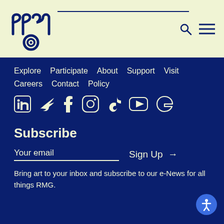[Figure (logo): RMG logo in dark navy blue on light yellow-green background, with search and menu icons]
Explore
Participate
About
Support
Visit
Careers
Contact
Policy
[Figure (illustration): Social media icons row: LinkedIn, Twitter, Facebook, Instagram, TikTok, YouTube, Google]
Subscribe
Your email
Sign Up →
Bring art to your inbox and subscribe to our e-News for all things RMG.